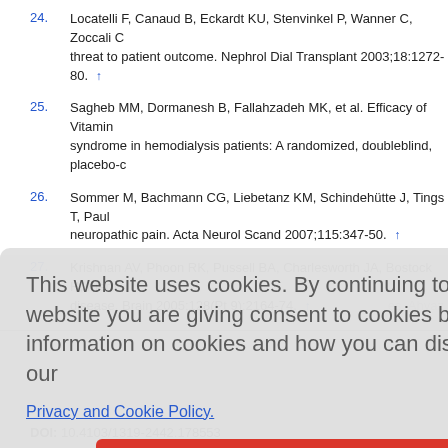24. Locatelli F, Canaud B, Eckardt KU, Stenvinkel P, Wanner C, Zoccali C threat to patient outcome. Nephrol Dial Transplant 2003;18:1272-80. ↑
25. Sagheb MM, Dormanesh B, Fallahzadeh MK, et al. Efficacy of Vitamin syndrome in hemodialysis patients: A randomized, doubleblind, placebo-c
26. Sommer M, Bachmann CG, Liebetanz KM, Schindehütte J, Tings T, Paul neuropathic pain. Acta Neurol Scand 2007;115:347-50. ↑
27. Krishnan AV, Phoon RK, Pussell BA, Charlesworth JA, Bostock H, Kiern disease. Brain 2005;128(Pt 9):2164-74. ↑
This website uses cookies. By continuing to use this website you are giving consent to cookies being used. For information on cookies and how you can disable them visit our
Privacy and Cookie Policy.
AGREE & PROCEED
es, Ahvaz
conflict of interest: None
CrossRef Citations      Solutions
DOI: 10.4103/1319-2442.178553